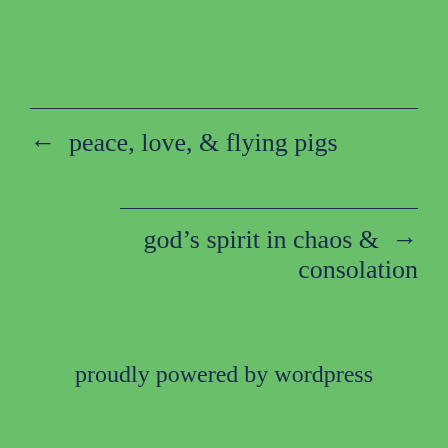← peace, love, & flying pigs
god's spirit in chaos & consolation →
proudly powered by wordpress